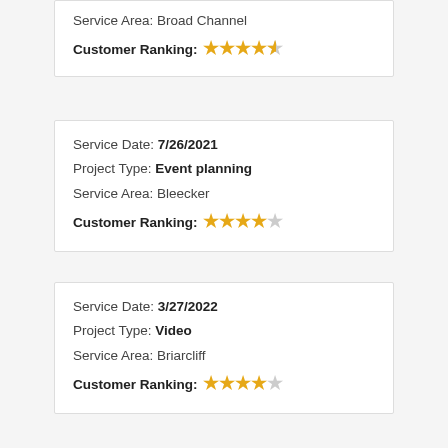Service Area: Broad Channel
Customer Ranking: ★★★★½
Service Date: 7/26/2021
Project Type: Event planning
Service Area: Bleecker
Customer Ranking: ★★★★☆
Service Date: 3/27/2022
Project Type: Video
Service Area: Briarcliff
Customer Ranking: ★★★★☆